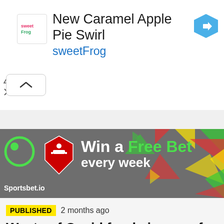[Figure (screenshot): sweetFrog advertisement banner with logo, text 'New Caramel Apple Pie Swirl sweetFrog', blue arrow icon, and ad controls (play/close icons)]
[Figure (screenshot): Sportsbet.io advertisement banner showing Arsenal logo with text 'Win a Free Bet every week' on dark grey background with colorful geometric shapes]
PUBLISHED 2 months ago
Waste of Covid funds is one of the biggest scandals in this country -